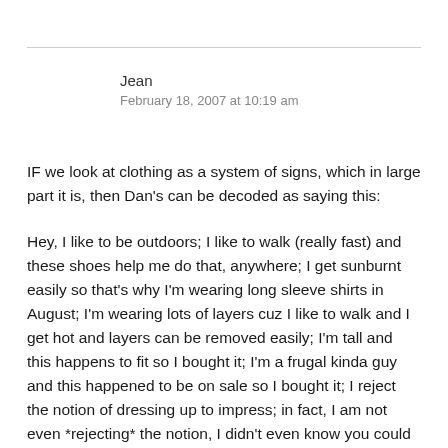Jean
February 18, 2007 at 10:19 am
IF we look at clothing as a system of signs, which in large part it is, then Dan's can be decoded as saying this:
Hey, I like to be outdoors; I like to walk (really fast) and these shoes help me do that, anywhere; I get sunburnt easily so that's why I'm wearing long sleeve shirts in August; I'm wearing lots of layers cuz I like to walk and I get hot and layers can be removed easily; I'm tall and this happens to fit so I bought it; I'm a frugal kinda guy and this happened to be on sale so I bought it; I reject the notion of dressing up to impress; in fact, I am not even *rejecting* the notion, I didn't even know you could do that...and, can we stop talking about